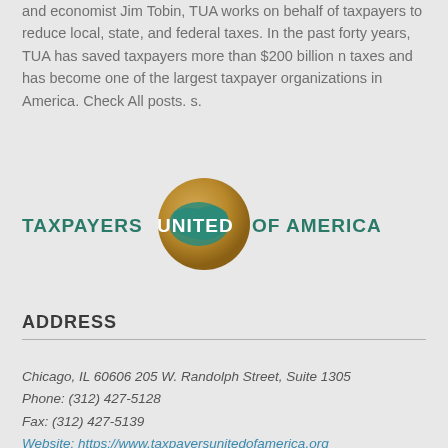and economist Jim Tobin, TUA works on behalf of taxpayers to reduce local, state, and federal taxes. In the past forty years, TUA has saved taxpayers more than $200 billion n taxes and has become one of the largest taxpayer organizations in America. Check All posts. s.
[Figure (logo): Taxpayers United of America logo with globe graphic and teal uppercase text]
ADDRESS
Chicago, IL 60606 205 W. Randolph Street, Suite 1305
Phone: (312) 427-5128
Fax: (312) 427-5139
Website: https://www.taxpayersunitedofamerica.org